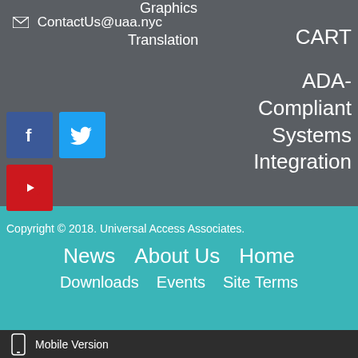ContactUs@uaa.nyc
Graphics
Translation
CART
ADA-Compliant Systems Integration
[Figure (other): Social media icon buttons: Facebook, Twitter, YouTube]
Copyright © 2018. Universal Access Associates.
News
About Us
Home
Downloads
Events
Site Terms
Mobile Version